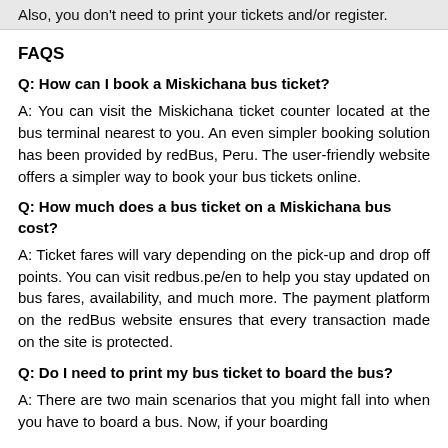Also, you don't need to print your tickets and/or register.
FAQS
Q: How can I book a Miskichana bus ticket?
A: You can visit the Miskichana ticket counter located at the bus terminal nearest to you. An even simpler booking solution has been provided by redBus, Peru. The user-friendly website offers a simpler way to book your bus tickets online.
Q: How much does a bus ticket on a Miskichana bus cost?
A: Ticket fares will vary depending on the pick-up and drop off points. You can visit redbus.pe/en to help you stay updated on bus fares, availability, and much more. The payment platform on the redBus website ensures that every transaction made on the site is protected.
Q: Do I need to print my bus ticket to board the bus?
A: There are two main scenarios that you might fall into when you have to board a bus. Now, if your boarding